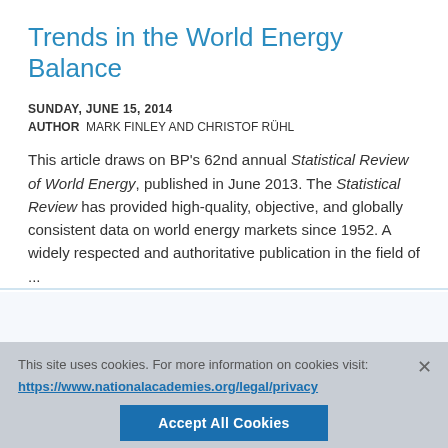Trends in the World Energy Balance
SUNDAY, JUNE 15, 2014
AUTHOR  MARK FINLEY AND CHRISTOF RÜHL
This article draws on BP's 62nd annual Statistical Review of World Energy, published in June 2013. The Statistical Review has provided high-quality, objective, and globally consistent data on world energy markets since 1952. A widely respected and authoritative publication in the field of ...
This site uses cookies. For more information on cookies visit: https://www.nationalacademies.org/legal/privacy
Accept All Cookies